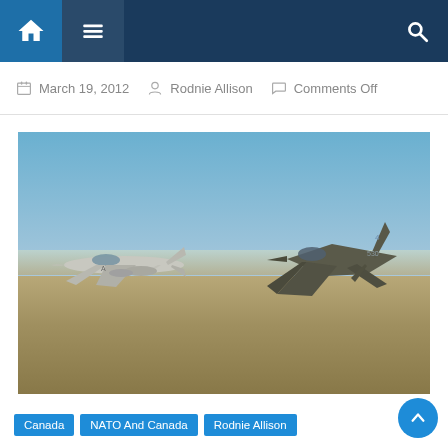Navigation bar with home, menu, and search icons
March 19, 2012  Rodnie Allison  Comments Off
[Figure (photo): Two military fighter jets flying in formation over a landscape. Left: F/A-18 Hornet in gray/white livery. Right: F-35 Lightning II in dark stealth livery. Clear blue sky background with brown terrain below.]
Canada  NATO And Canada  Rodnie Allison